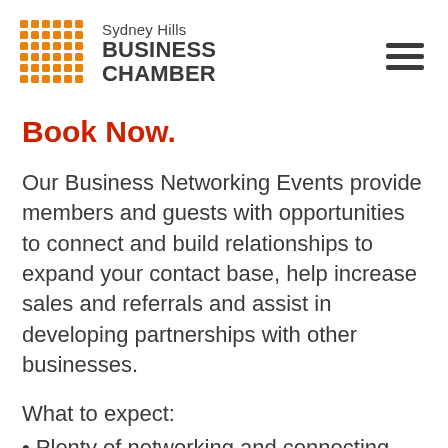[Figure (logo): Sydney Hills Business Chamber logo with orange dot-grid icon on left and text 'Sydney Hills BUSINESS CHAMBER' on right]
Book Now.
Our Business Networking Events provide members and guests with opportunities to connect and build relationships to expand your contact base, help increase sales and referrals and assist in developing partnerships with other businesses.
What to expect:
• Plenty of networking and connecting